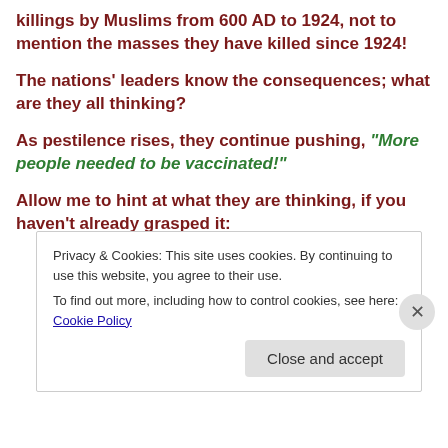killings by Muslims from 600 AD to 1924, not to mention the masses they have killed since 1924!
The nations' leaders know the consequences; what are they all thinking?
As pestilence rises, they continue pushing, “More people needed to be vaccinated!”
Allow me to hint at what they are thinking, if you haven’t already grasped it:
Privacy & Cookies: This site uses cookies. By continuing to use this website, you agree to their use.
To find out more, including how to control cookies, see here: Cookie Policy